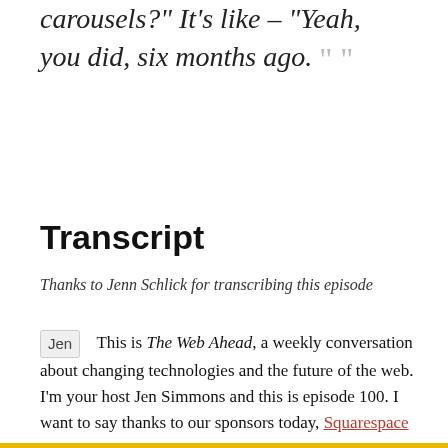carousels?" It's like – "Yeah, you did, six months ago. ””
Transcript
Thanks to Jenn Schlick for transcribing this episode
Jen  This is The Web Ahead, a weekly conversation about changing technologies and the future of the web. I'm your host Jen Simmons and this is episode 100. I want to say thanks to our sponsors today, Squarespace and Code School. I also want to say thanks to Pantheon for powering the The Web Ahead website. And CacheFly for delivering all of the audio files that you are listening to. The fastest, most reliable CDN in